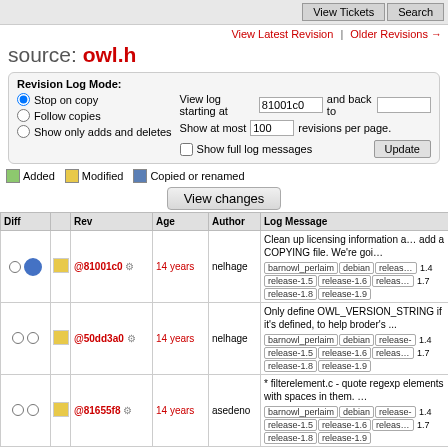View Tickets | Search
View Latest Revision | Older Revisions →
source: owl.h
Revision Log Mode: Stop on copy / Follow copies / Show only adds and deletes | View log starting at 81001c0 and back to | Show at most 100 revisions per page. | Show full log messages | Update
Added | Modified | Copied or renamed
View changes
| Diff |  | Rev | Age | Author | Log Message |
| --- | --- | --- | --- | --- | --- |
| ○ ● | ■ | @81001c0 ⚙ | 14 years | nelhage | Clean up licensing information a… add a COPYING file. We're goi… ... barnowl_perlaim debian release- 1.4 release-1.5 release-1.6 release- 1.7 release-1.8 release-1.9 |
| ○ ○ | ■ | @50dd3a0 ⚙ | 14 years | nelhage | Only define OWL_VERSION_STRING if it's defined, to help broder's ... barnowl_perlaim debian release-1.4 release-1.5 release-1.6 release- 1.7 release-1.8 release-1.9 |
| ○ ○ | ■ | @81655f8 ⚙ | 14 years | asedeno | * filterelement.c - quote regexp elements with spaces in them. … barnowl_perlaim debian release- 1.4 release-1.5 release-1.6 release- 1.7 release-1.8 release-1.9 |